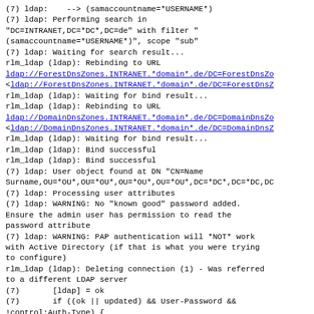(7) ldap:    --> (samaccountname=*USERNAME*)
(7) ldap: Performing search in
"DC=INTRANET,DC=*DC*,DC=de" with filter "
(samaccountname=*USERNAME*)", scope "sub"
(7) ldap: Waiting for search result...
rlm_ldap (ldap): Rebinding to URL
ldap://ForestDnsZones.INTRANET.*domain*.de/DC=ForestDnsZones...
<ldap://ForestDnsZones.INTRANET.*domain*.de/DC=ForestDns...
rlm_ldap (ldap): Waiting for bind result...
rlm_ldap (ldap): Rebinding to URL
ldap://DomainDnsZones.INTRANET.*domain*.de/DC=DomainDnsZo...
<ldap://DomainDnsZones.INTRANET.*domain*.de/DC=DomainDns...
rlm_ldap (ldap): Waiting for bind result...
rlm_ldap (ldap): Bind successful
rlm_ldap (ldap): Bind successful
(7) ldap: User object found at DN "CN=Name
Surname,OU=*OU*,OU=*OU*,OU=*OU*,OU=*OU*,DC=*DC*,DC=*DC,DC...
(7) ldap: Processing user attributes
(7) ldap: WARNING: No "known good" password added.
Ensure the admin user has permission to read the
password attribute
(7) ldap: WARNING: PAP authentication will *NOT* work
with Active Directory (if that is what you were trying
to configure)
rlm_ldap (ldap): Deleting connection (1) - Was referred
to a different LDAP server
(7)       [ldap] = ok
(7)       if ((ok || updated) && User-Password &&
!control:Auth-Type) {
(7)       if ((ok || updated) && User-Password &&